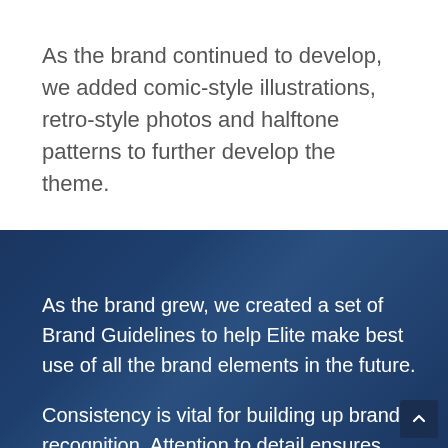As the brand continued to develop, we added comic-style illustrations, retro-style photos and halftone patterns to further develop the theme.
As the brand grew, we created a set of Brand Guidelines to help Elite make best use of all the brand elements in the future.
Consistency is vital for building up brand recognition. Attention to detail ensures your